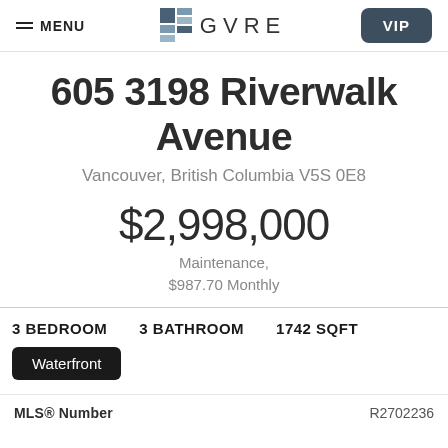MENU | GVRE | VIP
605 3198 Riverwalk Avenue
Vancouver, British Columbia V5S 0E8
$2,998,000
Maintenance, $987.70 Monthly
3 BEDROOM   3 BATHROOM   1742 SQFT
Waterfront
MLS® Number   R2702236